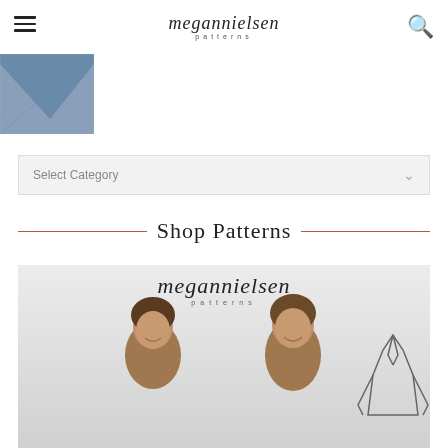megan nielsen patterns
[Figure (photo): Thumbnail of blue denim fabric with chevron/V-shape detail, partially visible at top left]
[Figure (other): Select Category dropdown menu bar with down arrow]
Shop Patterns
[Figure (photo): Product photo showing two young women smiling, with Megan Nielsen Patterns logo above them and a jacket sketch outline to the right, on a light gray background]